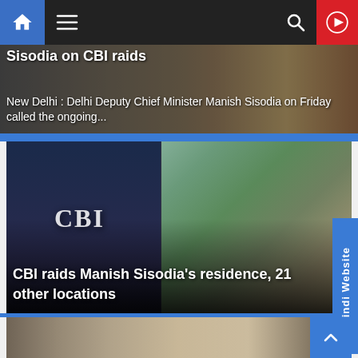Navigation bar with home, hamburger menu, search, and play button
[Figure (screenshot): Partially visible news card about Sisodia on CBI raids, showing a person in background]
Sisodia on CBI raids
New Delhi : Delhi Deputy Chief Minister Manish Sisodia on Friday called the ongoing...
[Figure (photo): CBI officer in jacket with CBI logo, standing in front of a residential street with trees]
CBI raids Manish Sisodia's residence, 21 other locations
[Figure (photo): Partially visible meeting scene with multiple people seated around a conference table, a person at head appears to be a government official]
Hindi Website